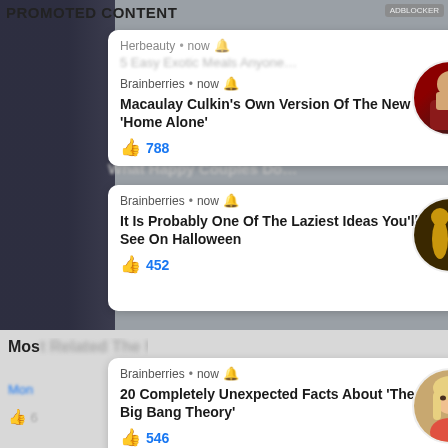PROMOTED CONTENT
Herbeauty • now 🔔
5 Easy Exotic Meals Anyone…
Brainberries • now 🔔
Macaulay Culkin's Own Version Of The New 'Home Alone'
👍 788
What Happy Couples Do…
Brainberries • now 🔔
It Is Probably One Of The Laziest Ideas You'll See On Halloween
👍 452
Most Related The headline of hit T…
Brainberries • now 🔔
20 Completely Unexpected Facts About 'The Big Bang Theory'
👍 546